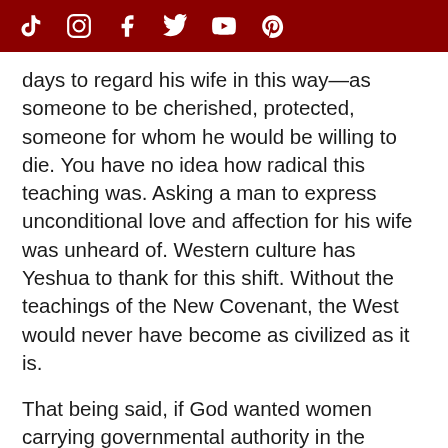[Social media icons: TikTok, Instagram, Facebook, Twitter, YouTube, Pinterest]
days to regard his wife in this way—as someone to be cherished, protected, someone for whom he would be willing to die. You have no idea how radical this teaching was. Asking a man to express unconditional love and affection for his wife was unheard of. Western culture has Yeshua to thank for this shift. Without the teachings of the New Covenant, the West would never have become as civilized as it is.
That being said, if God wanted women carrying governmental authority in the congregation, then He would have led Paul to write that. God was not afraid of offending